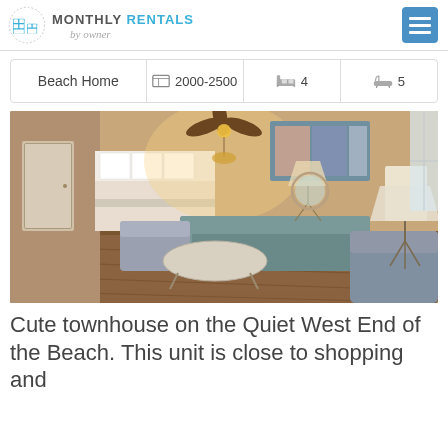[Figure (logo): Monthly Rentals by Owner logo with grid/building icon in blue]
| Type | Sq Ft | Beds | Baths |
| --- | --- | --- | --- |
| Beach Home | 2000-2500 | 4 | 5 |
[Figure (photo): Interior photo of a beach townhouse living room with ceiling fan, couch, chairs, coffee table, and open kitchen in background]
Cute townhouse on the Quiet West End of the Beach. This unit is close to shopping and